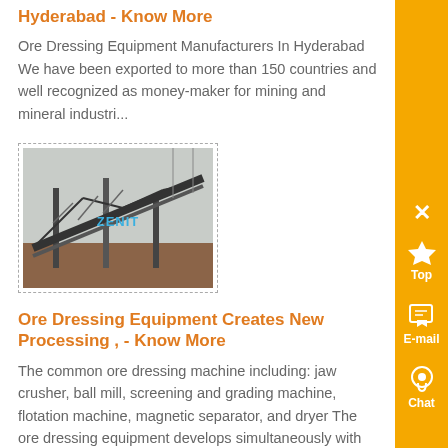Hyderabad - Know More
Ore Dressing Equipment Manufacturers In Hyderabad We have been exported to more than 150 countries and well recognized as money-maker for mining and mineral industri...
[Figure (photo): Industrial ore dressing conveyor/equipment structure with ZENIT watermark]
Ore Dressing Equipment Creates New Processing , - Know More
The common ore dressing machine including: jaw crusher, ball mill, screening and grading machine, flotation machine, magnetic separator, and dryer The ore dressing equipment develops simultaneously with ore